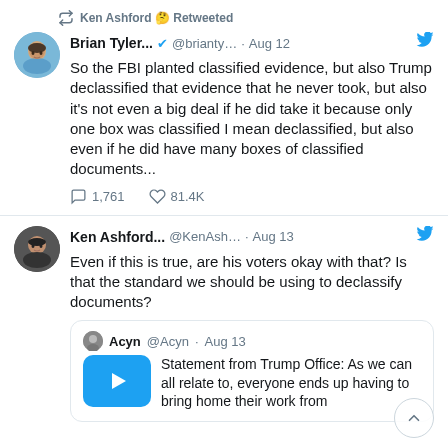Ken Ashford 🤔 Retweeted
Brian Tyler... ✔ @brianty… · Aug 12
So the FBI planted classified evidence, but also Trump declassified that evidence that he never took, but also it's not even a big deal if he did take it because only one box was classified I mean declassified, but also even if he did have many boxes of classified documents...
💬 1,761  ♡ 81.4K
Ken Ashford... @KenAsh… · Aug 13
Even if this is true, are his voters okay with that? Is that the standard we should be using to declassify documents?
Acyn @Acyn · Aug 13
Statement from Trump Office: As we can all relate to, everyone ends up having to bring home their work from